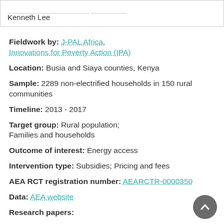Kenneth Lee
Fieldwork by: J-PAL Africa, Innovations for Poverty Action (IPA)
Location: Busia and Siaya counties, Kenya
Sample: 2289 non-electrified households in 150 rural communities
Timeline: 2013 - 2017
Target group: Rural population; Families and households
Outcome of interest: Energy access
Intervention type: Subsidies; Pricing and fees
AEA RCT registration number: AEARCTR-0000350
Data: AEA website
Research papers: